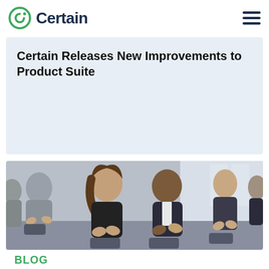Certain
Certain Releases New Improvements to Product Suite
[Figure (photo): Audience of business people sitting in chairs clapping and applauding at an event or conference presentation]
BLOG